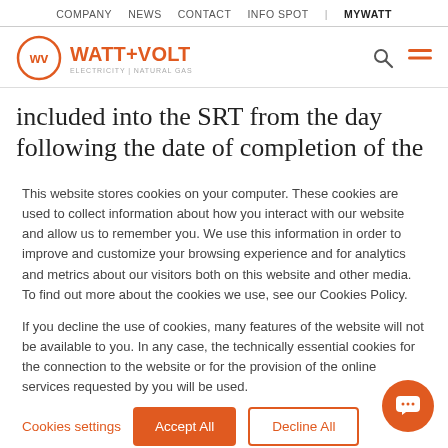COMPANY  NEWS  CONTACT  INFO SPOT  |  MYWATT
[Figure (logo): Watt+Volt logo with orange circle WV icon and text WATT+VOLT ELECTRICITY | NATURAL GAS, plus search and menu icons]
included into the SRT from the day following the date of completion of the check and the sending to the Operator of the Hellenic Electricity Distribution
This website stores cookies on your computer. These cookies are used to collect information about how you interact with our website and allow us to remember you. We use this information in order to improve and customize your browsing experience and for analytics and metrics about our visitors both on this website and other media. To find out more about the cookies we use, see our Cookies Policy.

If you decline the use of cookies, many features of the website will not be available to you. In any case, the technically essential cookies for the connection to the website or for the provision of the online services requested by you will be used.
Cookies settings  Accept All  Decline All